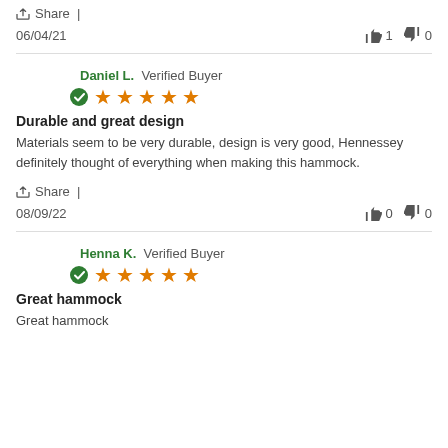Share |
06/04/21  👍 1  👎 0
Daniel L. Verified Buyer ★★★★★
Durable and great design
Materials seem to be very durable, design is very good, Hennessey definitely thought of everything when making this hammock.
Share |
08/09/22  👍 0  👎 0
Henna K. Verified Buyer ★★★★★
Great hammock
Great hammock